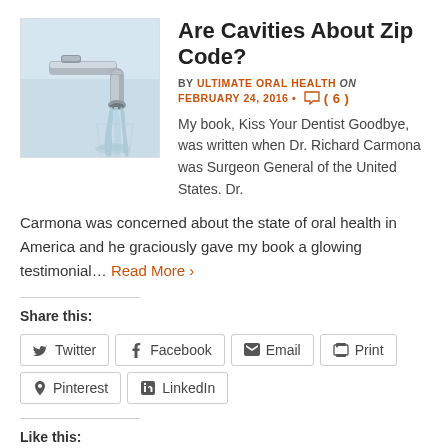[Figure (photo): Photo of a water faucet tap with water running into a glass]
Are Cavities About Zip Code?
BY ULTIMATE ORAL HEALTH on FEBRUARY 24, 2016 • ( 6 )
My book, Kiss Your Dentist Goodbye, was written when Dr. Richard Carmona was Surgeon General of the United States. Dr. Carmona was concerned about the state of oral health in America and he graciously gave my book a glowing testimonial… Read More ›
Share this:
Twitter Facebook Email Print Pinterest LinkedIn
Like this:
Loading...